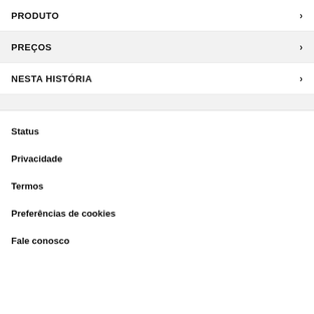PRODUTO
PREÇOS
NESTA HISTÓRIA
Status
Privacidade
Termos
Preferências de cookies
Fale conosco